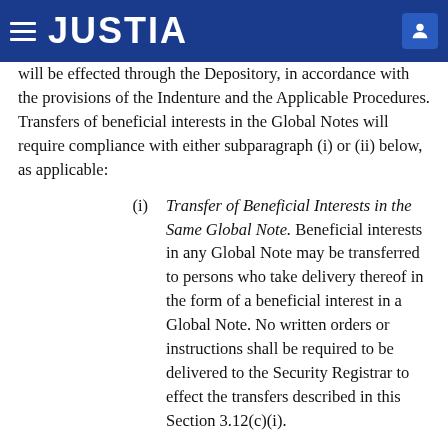JUSTIA
will be effected through the Depository, in accordance with the provisions of the Indenture and the Applicable Procedures. Transfers of beneficial interests in the Global Notes will require compliance with either subparagraph (i) or (ii) below, as applicable:
(i) Transfer of Beneficial Interests in the Same Global Note. Beneficial interests in any Global Note may be transferred to persons who take delivery thereof in the form of a beneficial interest in a Global Note. No written orders or instructions shall be required to be delivered to the Security Registrar to effect the transfers described in this Section 3.12(c)(i).
(ii) All Other Transfers of Beneficial Interests in Global Notes. In connection with all transfers of beneficial interests that are not subject to Section